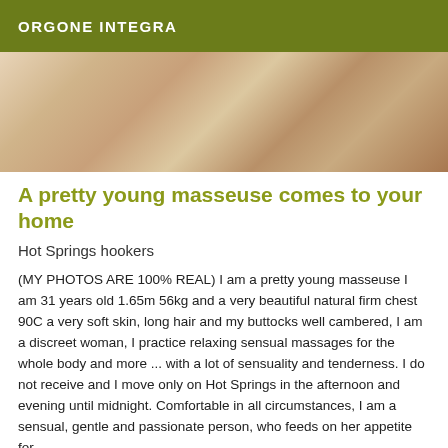ORGONE INTEGRA
[Figure (photo): Photo of a person lying on a bed with white and mauve bedding, legs visible]
A pretty young masseuse comes to your home
Hot Springs hookers
(MY PHOTOS ARE 100% REAL) I am a pretty young masseuse I am 31 years old 1.65m 56kg and a very beautiful natural firm chest 90C a very soft skin, long hair and my buttocks well cambered, I am a discreet woman, I practice relaxing sensual massages for the whole body and more ... with a lot of sensuality and tenderness. I do not receive and I move only on Hot Springs in the afternoon and evening until midnight. Comfortable in all circumstances, I am a sensual, gentle and passionate person, who feeds on her appetite for